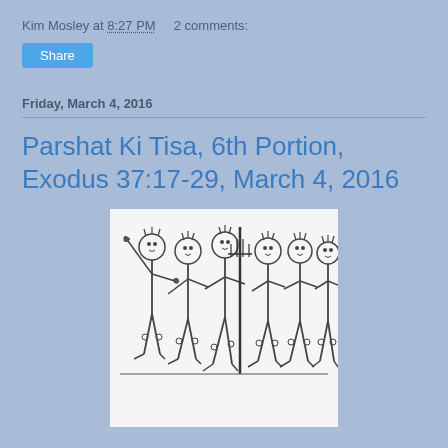Kim Mosley at 8:27 PM    2 comments:
Share
Friday, March 4, 2016
Parshat Ki Tisa, 6th Portion, Exodus 37:17-29, March 4, 2016
[Figure (illustration): Hand-drawn pencil sketch of seven stylized human figures standing together, some with arms raised, in a naive folk-art style]